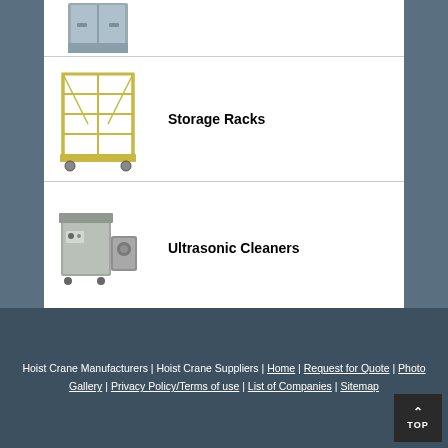[Figure (photo): Partial view of a metal storage unit or cabinet (cropped top row)]
Storage Racks
[Figure (photo): Yellow/cream colored storage rack on wheels]
Ultrasonic Cleaners
[Figure (photo): Industrial ultrasonic cleaner machine]
Work Benches
Hoist Crane Manufacturers | Hoist Crane Suppliers | Home | Request for Quote | Photo Gallery | Privacy Policy/Terms of use | List of Companies | Sitemap